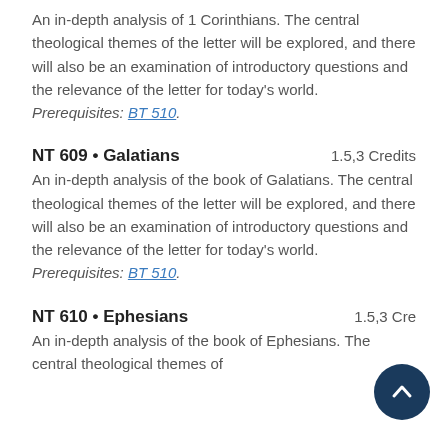An in-depth analysis of 1 Corinthians. The central theological themes of the letter will be explored, and there will also be an examination of introductory questions and the relevance of the letter for today's world. Prerequisites: BT 510.
NT 609 • Galatians    1.5,3 Credits
An in-depth analysis of the book of Galatians. The central theological themes of the letter will be explored, and there will also be an examination of introductory questions and the relevance of the letter for today's world. Prerequisites: BT 510.
NT 610 • Ephesians    1.5,3 Credits
An in-depth analysis of the book of Ephesians. The central theological themes of